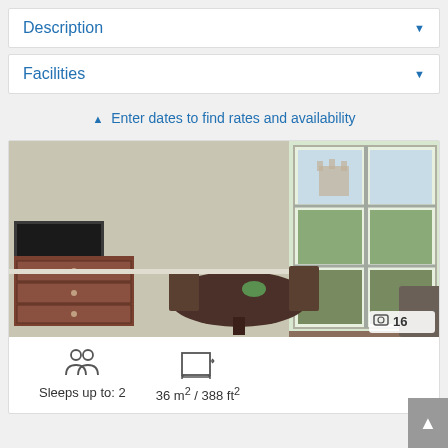Description
Facilities
Enter dates to find rates and availability
[Figure (photo): Hotel room interior showing a living area with a round dining table, chairs, a TV on a wooden dresser, and a large multi-pane window overlooking a castle or historic building. Photo counter shows 16 images.]
Sleeps up to: 2
36 m² / 388 ft²